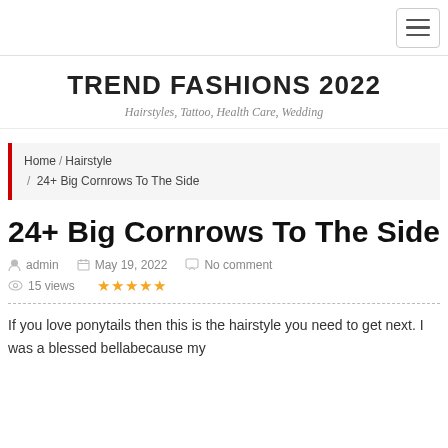TREND FASHIONS 2022 — Hairstyles, Tattoo, Health Care, Wedding
Home / Hairstyle / 24+ Big Cornrows To The Side
24+ Big Cornrows To The Side
admin   May 19, 2022   No comment   15 views   ★★★★★
If you love ponytails then this is the hairstyle you need to get next. I was a blessed bellabecause my